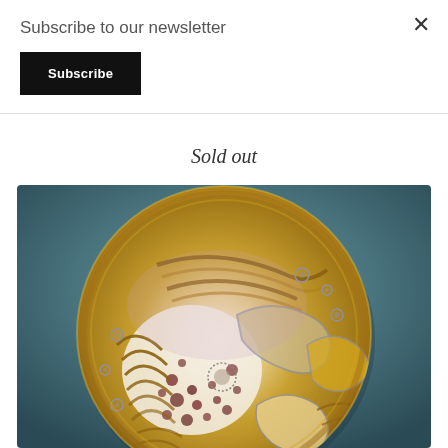Subscribe to our newsletter
Subscribe
×
Sold out
[Figure (photo): A decorative ceramic plate with gold, grey, and earthy tones featuring stylized animal and abstract motifs. The plate is circular, set against a teal/blue-grey background. Intricate raised designs show fish-like creatures, birds, and ornamental patterns in gold and muted pink/purple outlines on a cream and gold base.]